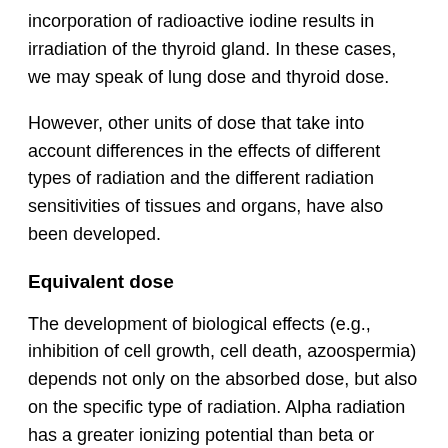incorporation of radioactive iodine results in irradiation of the thyroid gland. In these cases, we may speak of lung dose and thyroid dose.
However, other units of dose that take into account differences in the effects of different types of radiation and the different radiation sensitivities of tissues and organs, have also been developed.
Equivalent dose
The development of biological effects (e.g., inhibition of cell growth, cell death, azoospermia) depends not only on the absorbed dose, but also on the specific type of radiation. Alpha radiation has a greater ionizing potential than beta or gamma radiation. Equivalent dose takes this difference into account by applying radiation-specific weighting factors. The weighting factor for gamma and beta radiation (low ionizing potential), is equal to 1, while that for alpha particles (high ionizing potential) is 20 (ICRP 60). Equivalent dose is measured in